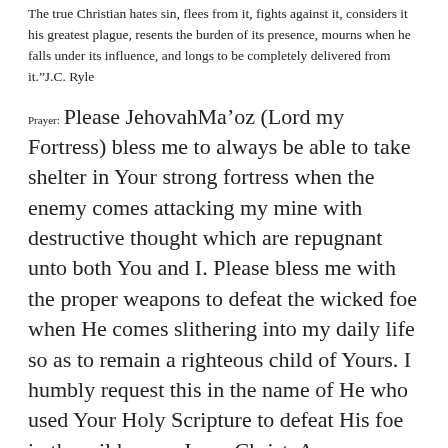The true Christian hates sin, flees from it, fights against it, considers it his greatest plague, resents the burden of its presence, mourns when he falls under its influence, and longs to be completely delivered from it.”J.C. Ryle
Prayer: Please JehovahMa’oz (Lord my Fortress) bless me to always be able to take shelter in Your strong fortress when the enemy comes attacking my mine with destructive thought which are repugnant unto both You and I. Please bless me with the proper weapons to defeat the wicked foe when He comes slithering into my daily life so as to remain a righteous child of Yours. I humbly request this in the name of He who used Your Holy Scripture to defeat His foe in the wilderness Jesus Christ. Amen.
May your house be filled with joy in the morning and sweet dreams at night. May it be a home where love has